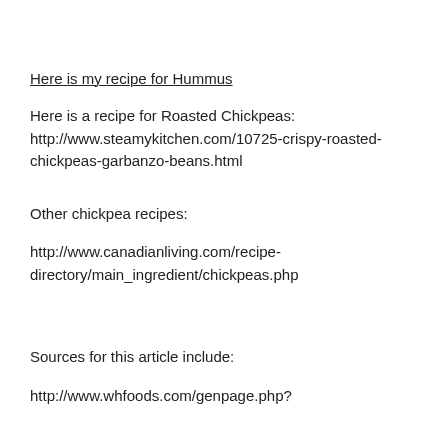Here is my recipe for Hummus
Here is a recipe for Roasted Chickpeas: http://www.steamykitchen.com/10725-crispy-roasted-chickpeas-garbanzo-beans.html
Other chickpea recipes:
http://www.canadianliving.com/recipe-directory/main_ingredient/chickpeas.php
Sources for this article include:
http://www.whfoods.com/genpage.php?